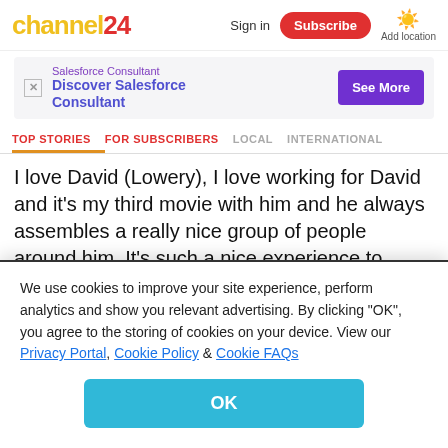channel24
[Figure (other): Advertisement banner for Salesforce Consultant with purple 'See More' button]
TOP STORIES | FOR SUBSCRIBERS | LOCAL | INTERNATIONAL
I love David (Lowery), I love working for David and it's my third movie with him and he always assembles a really nice group of people around him. It's such a nice experience to watch one of his movies. They all have a very gentle quality to them... And Robert Redford, what is there to say? He's a
We use cookies to improve your site experience, perform analytics and show you relevant advertising. By clicking "OK", you agree to the storing of cookies on your device. View our Privacy Portal, Cookie Policy & Cookie FAQs